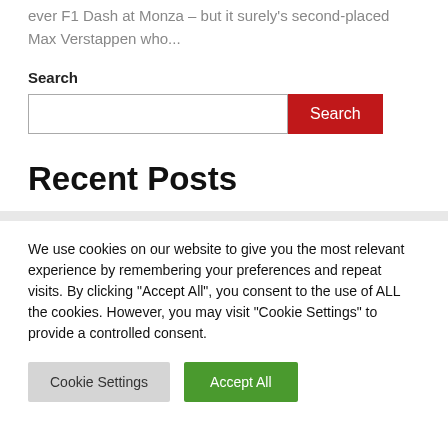ever F1 Dash at Monza – but it surely's second-placed Max Verstappen who...
Search
Search
Recent Posts
We use cookies on our website to give you the most relevant experience by remembering your preferences and repeat visits. By clicking "Accept All", you consent to the use of ALL the cookies. However, you may visit "Cookie Settings" to provide a controlled consent.
Cookie Settings
Accept All